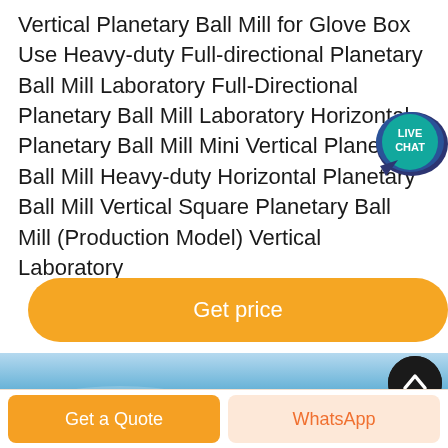Vertical Planetary Ball Mill for Glove Box Use Heavy-duty Full-directional Planetary Ball Mill Laboratory Full-Directional Planetary Ball Mill Laboratory Horizontal Planetary Ball Mill Mini Vertical Planetary Ball Mill Heavy-duty Horizontal Planetary Ball Mill Vertical Square Planetary Ball Mill (Production Model) Vertical Laboratory
[Figure (other): Live Chat speech bubble icon in teal/dark blue]
[Figure (other): Orange rounded 'Get price' button]
[Figure (photo): Blue sky banner image at the bottom of the content area]
[Figure (other): Black circular scroll-to-top button with upward chevron]
[Figure (other): Bottom action bar with orange 'Get a Quote' button and peach 'WhatsApp' button]